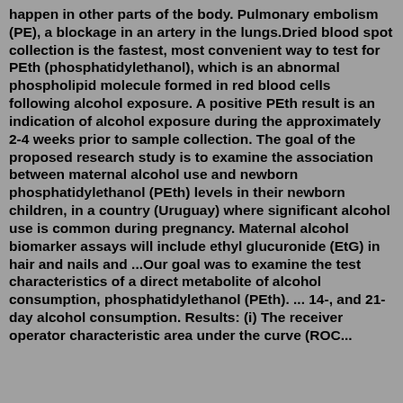happen in other parts of the body. Pulmonary embolism (PE), a blockage in an artery in the lungs.Dried blood spot collection is the fastest, most convenient way to test for PEth (phosphatidylethanol), which is an abnormal phospholipid molecule formed in red blood cells following alcohol exposure. A positive PEth result is an indication of alcohol exposure during the approximately 2-4 weeks prior to sample collection. The goal of the proposed research study is to examine the association between maternal alcohol use and newborn phosphatidylethanol (PEth) levels in their newborn children, in a country (Uruguay) where significant alcohol use is common during pregnancy. Maternal alcohol biomarker assays will include ethyl glucuronide (EtG) in hair and nails and ...Our goal was to examine the test characteristics of a direct metabolite of alcohol consumption, phosphatidylethanol (PEth). ... 14-, and 21-day alcohol consumption. Results: (i) The receiver operator characteristic area under the curve (ROC...